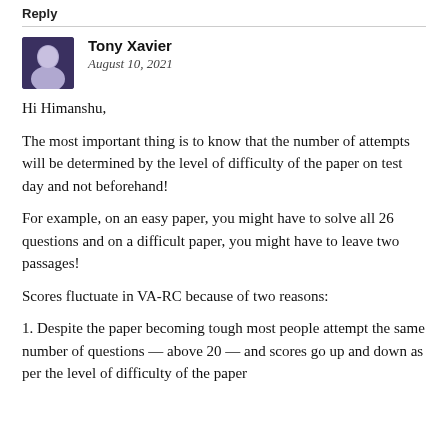Reply
Tony Xavier
August 10, 2021
Hi Himanshu,
The most important thing is to know that the number of attempts will be determined by the level of difficulty of the paper on test day and not beforehand!
For example, on an easy paper, you might have to solve all 26 questions and on a difficult paper, you might have to leave two passages!
Scores fluctuate in VA-RC because of two reasons:
1. Despite the paper becoming tough most people attempt the same number of questions — above 20 — and scores go up and down as per the level of difficulty of the paper